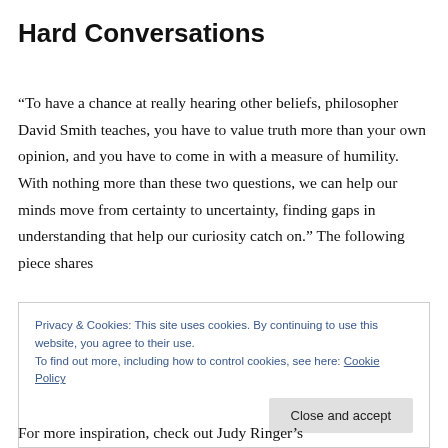Hard Conversations
“To have a chance at really hearing other beliefs, philosopher David Smith teaches, you have to value truth more than your own opinion, and you have to come in with a measure of humility. With nothing more than these two questions, we can help our minds move from certainty to uncertainty, finding gaps in understanding that help our curiosity catch on.” The following piece shares
Privacy & Cookies: This site uses cookies. By continuing to use this website, you agree to their use.
To find out more, including how to control cookies, see here: Cookie Policy
[Close and accept button]
For more inspiration, check out Judy Ringer’s